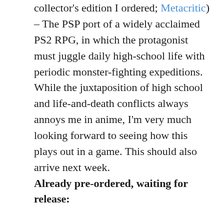collector's edition I ordered; Metacritic) – The PSP port of a widely acclaimed PS2 RPG, in which the protagonist must juggle daily high-school life with periodic monster-fighting expeditions. While the juxtaposition of high school and life-and-death conflicts always annoys me in anime, I'm very much looking forward to seeing how this plays out in a game. This should also arrive next week.
Already pre-ordered, waiting for release: